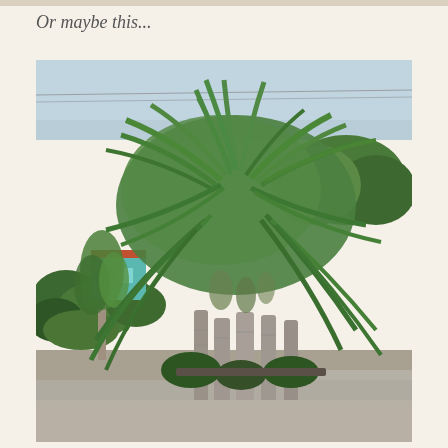Or maybe this...
[Figure (photo): A cluster of tall palm trees with long drooping fronds, multiple slender grey trunks, green shrubbery and a small building in the background on the left, paved road/parking area in the foreground, overcast sky.]